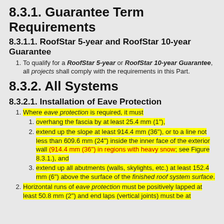8.3.1. Guarantee Term Requirements
8.3.1.1. RoofStar 5-year and RoofStar 10-year Guarantee
To qualify for a RoofStar 5-year or RoofStar 10-year Guarantee, all projects shall comply with the requirements in this Part.
8.3.2. All Systems
8.3.2.1. Installation of Eave Protection
Where eave protection is required, it must
overhang the fascia by at least 25.4 mm (1"),
extend up the slope at least 914.4 mm (36"), or to a line not less than 609.6 mm (24") inside the inner face of the exterior wall (914.4 mm (36") in regions with heavy snow; see Figure 8.3.1.), and
extend up all abutments (walls, skylights, etc.) at least 152.4 mm (6") above the surface of the finished roof system surface.
Horizontal runs of eave protection must be positively lapped at least 50.8 mm (2") and end laps (vertical joints) must be at